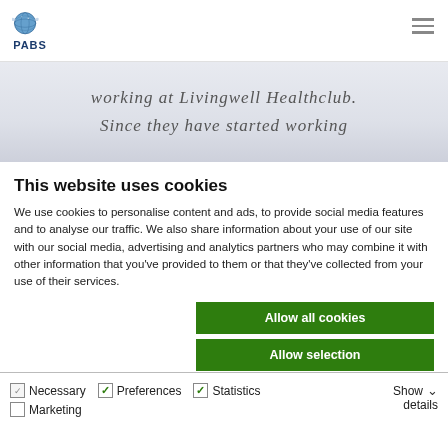PABS
working at Livingwell Healthclub.
Since they have started working
This website uses cookies
We use cookies to personalise content and ads, to provide social media features and to analyse our traffic. We also share information about your use of our site with our social media, advertising and analytics partners who may combine it with other information that you've provided to them or that they've collected from your use of their services.
Allow all cookies
Allow selection
Use necessary cookies only
Necessary  Preferences  Statistics  Marketing  Show details